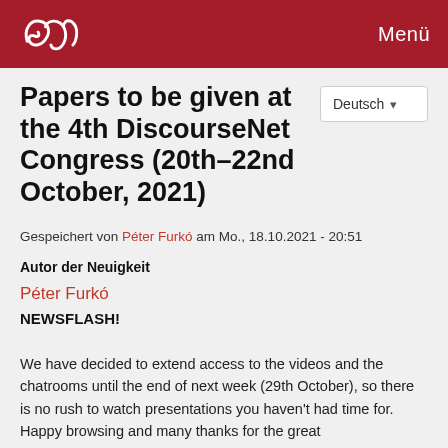Menü
Papers to be given at the 4th DiscourseNet Congress (20th–22nd October, 2021)
Gespeichert von Péter Furkó am Mo., 18.10.2021 - 20:51
Autor der Neuigkeit
Péter Furkó
NEWSFLASH!
We have decided to extend access to the videos and the chatrooms until the end of next week (29th October), so there is no rush to watch presentations you haven't had time for. Happy browsing and many thanks for the great